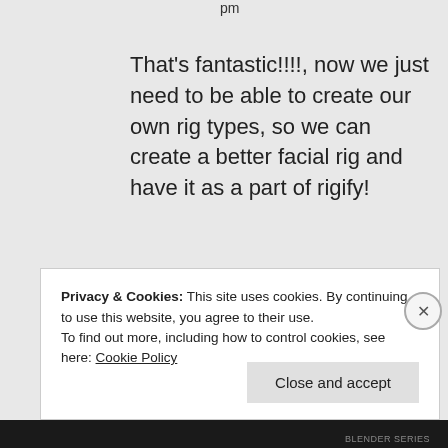pm
That's fantastic!!!!, now we just need to be able to create our own rig types, so we can create a better facial rig and have it as a part of rigify!
★ Like
↪ Reply
Privacy & Cookies: This site uses cookies. By continuing to use this website, you agree to their use.
To find out more, including how to control cookies, see here: Cookie Policy
Close and accept